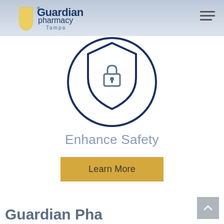[Figure (logo): Guardian Pharmacy Tampa logo with shield icon in blue and gold]
[Figure (illustration): Dark navy blue outline icon of a shield with a padlock inside, surrounded by a circle. Represents security/safety concept.]
Enhance Safety
Learn More
Guardian Pha...